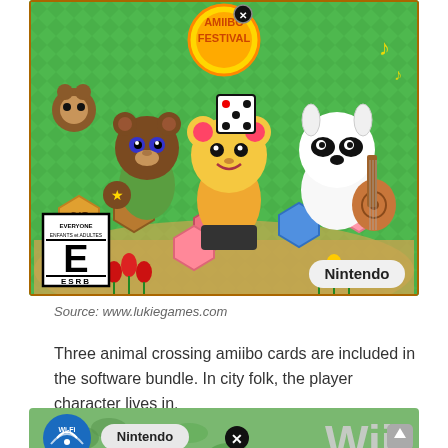[Figure (photo): Animal Crossing amiibo Festival Nintendo game box art showing Tom Nook, Isabelle, and K.K. Slider characters on a colorful board game. ESRB E rating visible bottom left, Nintendo logo bottom right.]
Source: www.lukiegames.com
Three animal crossing amiibo cards are included in the software bundle. In city folk, the player character lives in.
[Figure (photo): Bottom portion of a Nintendo Wii game case showing Wi-Fi logo, Nintendo badge, X button, and Wii logo in grey on right side.]